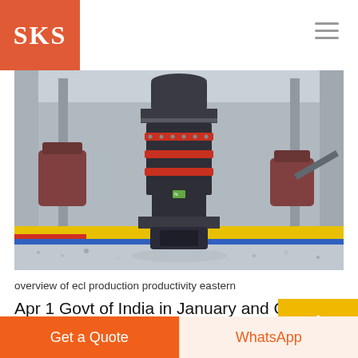SKS
[Figure (photo): Industrial mining crusher machine on a factory floor surrounded by gravel, with yellow and red painted flooring and large manufacturing equipment in the background]
overview of ecl production productivity eastern
Apr 1 Govt of India in January and Coal Min Authority Some mines are steeply dee coal